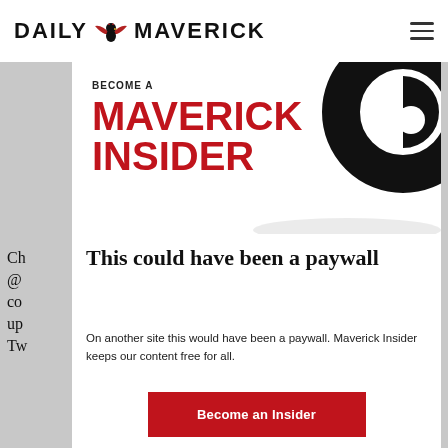DAILY MAVERICK
[Figure (logo): Daily Maverick logo with stylized bird/eagle icon between DAILY and MAVERICK text]
[Figure (illustration): Become a Maverick Insider promotional banner with large red bold text MAVERICK INSIDER and a black swirl graphic on the right]
This could have been a paywall
On another site this would have been a paywall. Maverick Insider keeps our content free for all.
Become an Insider
Already an Insider? Click here to log in.